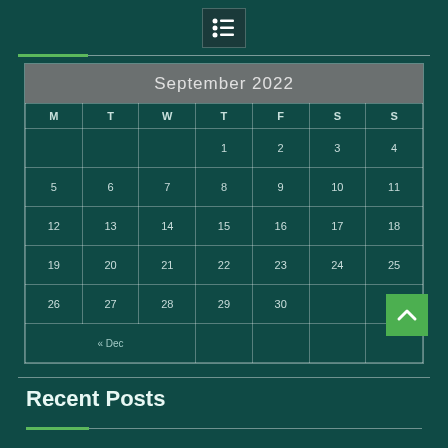[Figure (other): List/menu icon in dark box at top center]
| M | T | W | T | F | S | S |
| --- | --- | --- | --- | --- | --- | --- |
|  |  |  | 1 | 2 | 3 | 4 |
| 5 | 6 | 7 | 8 | 9 | 10 | 11 |
| 12 | 13 | 14 | 15 | 16 | 17 | 18 |
| 19 | 20 | 21 | 22 | 23 | 24 | 25 |
| 26 | 27 | 28 | 29 | 30 |  |  |
| « Dec |  |  |  |  |  |  |
Recent Posts